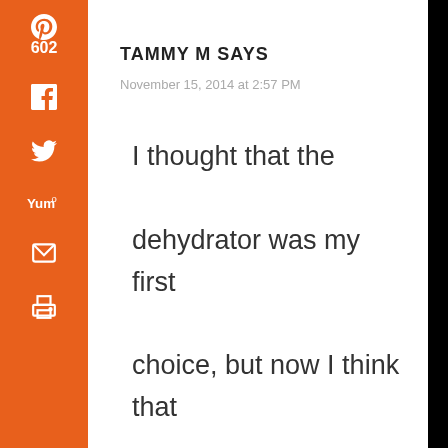[Figure (infographic): Orange vertical social sharing sidebar with Pinterest (602), Facebook, Twitter, Yummly, Email, and Print icons in white on orange background]
602
SHARES
TAMMY M SAYS
November 15, 2014 at 2:57 PM
I thought that the dehydrator was my first choice, but now I think that the sous vide sounds amazing. Thanks for
[Figure (infographic): Black ad bar at bottom with 'FALL IN LOVE' text and dog photo]